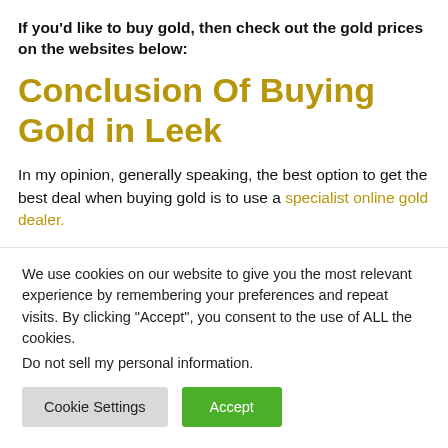If you'd like to buy gold, then check out the gold prices on the websites below:
Conclusion Of Buying Gold in Leek
In my opinion, generally speaking, the best option to get the best deal when buying gold is to use a specialist online gold dealer.
We use cookies on our website to give you the most relevant experience by remembering your preferences and repeat visits. By clicking “Accept”, you consent to the use of ALL the cookies.
Do not sell my personal information.